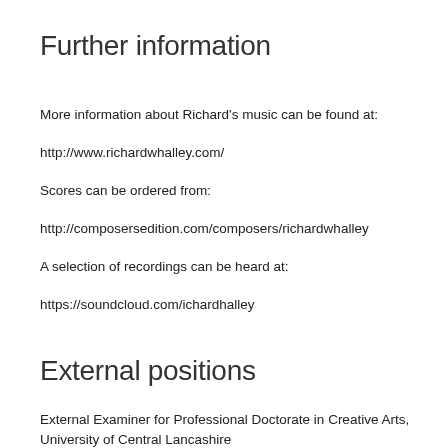Further information
More information about Richard's music can be found at:
http://www.richardwhalley.com/
Scores can be ordered from:
http://composersedition.com/composers/richardwhalley
A selection of recordings can be heard at:
https://soundcloud.com/ichardhalley
External positions
External Examiner for Professional Doctorate in Creative Arts, University of Central Lancashire